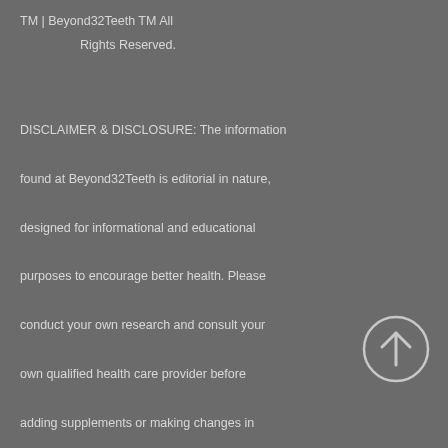TM | Beyond32Teeth TM All Rights Reserved.
DISCLAIMER & DISCLOSURE: The information found at Beyond32Teeth is editorial in nature, designed for informational and educational purposes to encourage better health. Please conduct your own research and consult your own qualified health care provider before adding supplements or making changes in your diet or lifestyle. Some links provided are for information or for possible purchase options. All opinions expressed in reviews are my own.
[Figure (illustration): A circular up-arrow button icon with a white arrow pointing upward inside a circle outline, on a gray background]